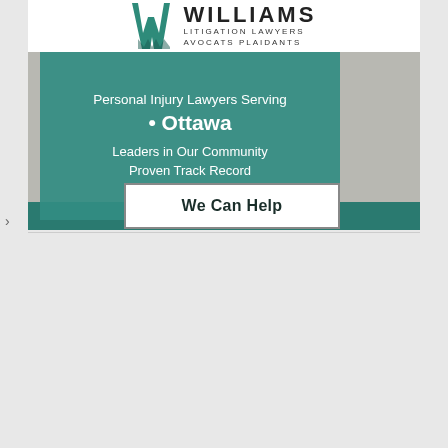[Figure (logo): Williams Litigation Lawyers / Avocats Plaidants logo with teal W mark]
Personal Injury Lawyers Serving
• Ottawa
Leaders in Our Community
Proven Track Record
We Can Help